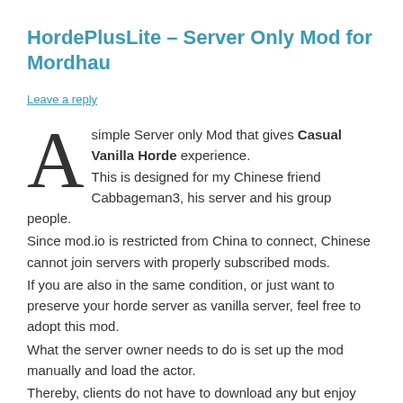HordePlusLite – Server Only Mod for Mordhau
Leave a reply
A simple Server only Mod that gives Casual Vanilla Horde experience.
This is designed for my Chinese friend Cabbageman3, his server and his group people.
Since mod.io is restricted from China to connect, Chinese cannot join servers with properly subscribed mods.
If you are also in the same condition, or just want to preserve your horde server as vanilla server, feel free to adopt this mod.
What the server owner needs to do is set up the mod manually and load the actor.
Thereby, clients do not have to download any but enjoy the mod features.